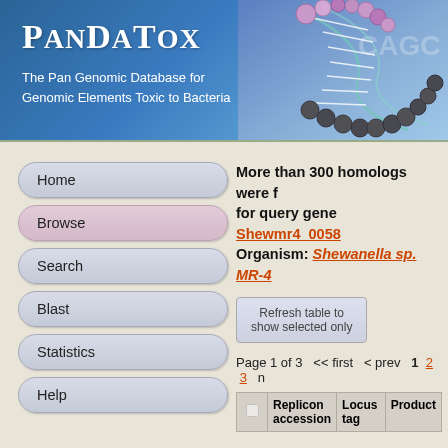PanDaTox — The Pan Genomic Database for Genomic Elements Toxic to Bacteria
[Figure (illustration): DNA double helix illustration with grey and pink/purple beads on white strings, blue-purple gradient background with faint 'CAGC' text]
Home
Browse
Search
Blast
Statistics
Help
FAQ
Methods
Papers
More than 300 homologs were found for query gene Shewmr4_0058 Organism: Shewanella sp. MR-4
Refresh table to show selected only
Page 1 of 3  << first  < prev  1  2  3  n
|  | Replicon accession | Locus tag | Product |
| --- | --- | --- | --- |